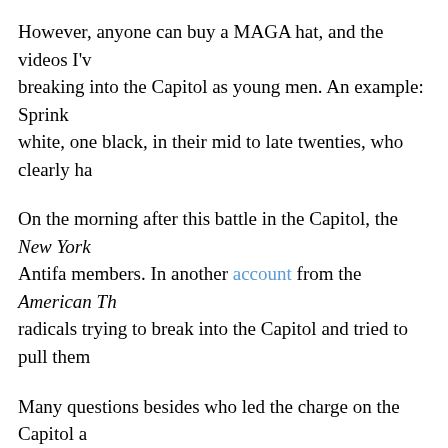However, anyone can buy a MAGA hat, and the videos I've seen show people breaking into the Capitol as young men. An example: Sprinkled among them are two, white, one black, in their mid to late twenties, who clearly ha
On the morning after this battle in the Capitol, the New York [Times] identified Antifa members. In another account from the American Th[inkter], radicals trying to break into the Capitol and tried to pull them
Many questions besides who led the charge on the Capitol a[re unanswered]. to the Capitol grounds? Why, as columnist Thomas Lifson as[ked], were they under orders to stand down?
In 1933, four weeks after Adolf Hitler became chancellor, so[meone set fire to]. The Nazi regime accused a communist of setting the fire an[d used it to] ban certain newspapers, restrict free speech, and limit other h[uman rights].
Will we see the same process here? And if so, who will be at